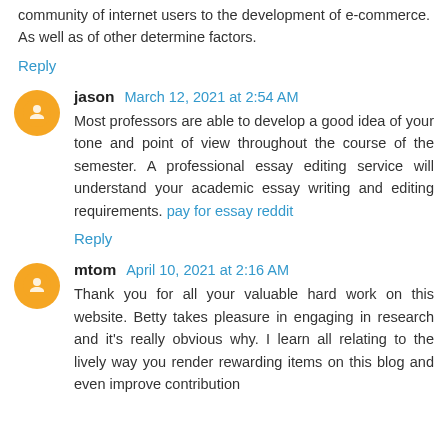community of internet users to the development of e-commerce. As well as of other determine factors.
Reply
jason  March 12, 2021 at 2:54 AM
Most professors are able to develop a good idea of your tone and point of view throughout the course of the semester. A professional essay editing service will understand your academic essay writing and editing requirements. pay for essay reddit
Reply
mtom  April 10, 2021 at 2:16 AM
Thank you for all your valuable hard work on this website. Betty takes pleasure in engaging in research and it's really obvious why. I learn all relating to the lively way you render rewarding items on this blog and even improve contribution